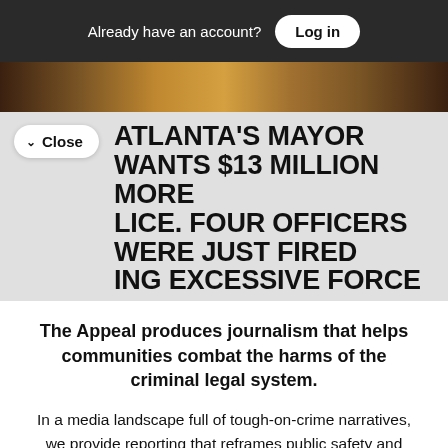Already have an account? Log in
[Figure (photo): Horizontal image strip showing a crowd or group of people, brownish tones]
ATLANTA'S MAYOR WANTS $13 MILLION MORE FOR POLICE. FOUR OFFICERS WERE JUST FIRED FOR EXCESSIVE FORCE
The Appeal produces journalism that helps communities combat the harms of the criminal legal system.
In a media landscape full of tough-on-crime narratives, we provide reporting that reframes public safety and challenges the over-reliance on police, prosecutors, and prisons. Sign up today to receive our weekly newsletter and all of the latest updates.
Free Newsletters 1